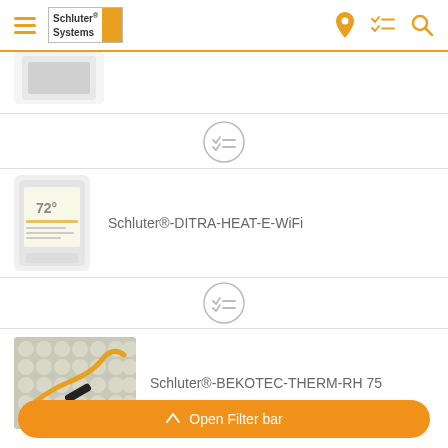Schluter Systems
[Figure (screenshot): Partially visible product image at top (thermostat/device, cropped)]
[Figure (other): Checklist circle icon (gray outline circle with checkmark list lines)]
[Figure (photo): Schluter DITRA-HEAT-E-WiFi thermostat device showing 72 degrees on screen]
Schluter®-DITRA-HEAT-E-WiFi
[Figure (other): Checklist circle icon (gray outline circle with checkmark list lines)]
[Figure (photo): Schluter BEKOTEC-THERM-RH 75 product photo showing radiant heating mat with orange cable and black tool]
Schluter®-BEKOTEC-THERM-RH 75
Open Filter bar